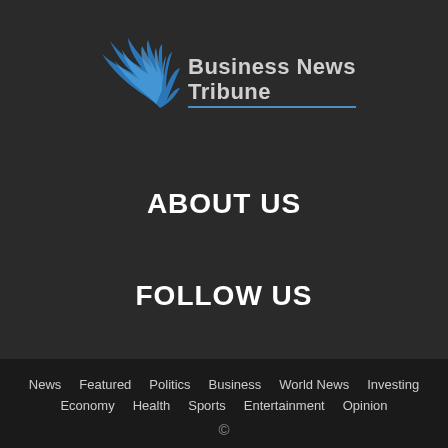[Figure (logo): Business News Tribune logo with blue wing graphic and text 'Business News Tribune']
ABOUT US
FOLLOW US
News  Featured  Politics  Business  World News  Investing  Economy  Health  Sports  Entertainment  Opinion  ©